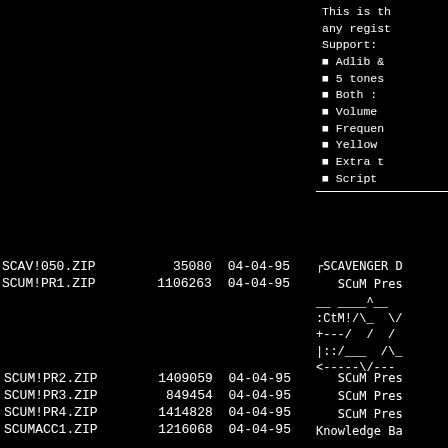This is th any regist Support: Adlib & 5 tones Both : Volume Frequen Yellow Extra t Script
| Name | Size | Date |
| --- | --- | --- |
| SCAV!050.ZIP | 35080 | 04-04-95 |
| SCUM!PR1.ZIP | 1106263 | 04-04-95 |
SCAVENGER D SCuM Pres
__ ____^__
:CtM!/\_ \/ 
+---/  /  /
|::/___  /\_ 
<------\/---
| Name | Size | Date | Description |
| --- | --- | --- | --- |
| SCUM!PR2.ZIP | 1409059 | 04-04-95 | SCuM Pres |
| SCUM!PR3.ZIP | 849454 | 04-04-95 | SCuM Pres |
| SCUM!PR4.ZIP | 1414828 | 04-04-95 | SCuM Pres |
| SCUMACC1.ZIP | 1216068 | 04-04-95 | Knowledge Ba |